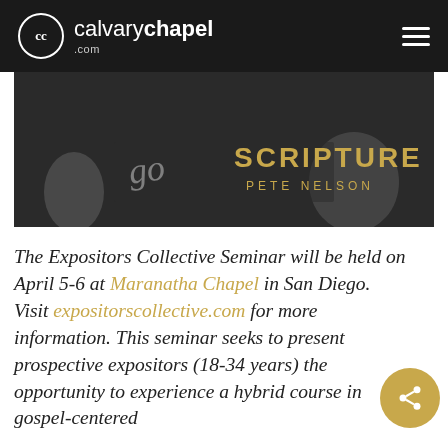cc calvarychapel .com
[Figure (photo): Black and white photo with text overlay reading 'SCRIPTURE PETE NELSON' in gold lettering, appears to be a book or seminar promotional image with handwriting overlay]
The Expositors Collective Seminar will be held on April 5-6 at Maranatha Chapel in San Diego. Visit expositorscollective.com for more information. This seminar seeks to present prospective expositors (18-34 years) the opportunity to experience a hybrid course in gospel-centered